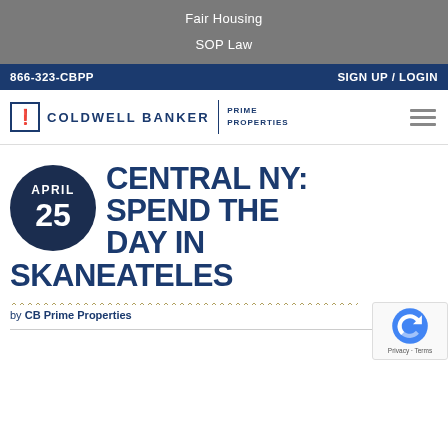Fair Housing
SOP Law
866-323-CBPP   SIGN UP / LOGIN
[Figure (logo): Coldwell Banker Prime Properties logo with hamburger menu icon]
CENTRAL NY: SPEND THE DAY IN SKANEATELES
by CB Prime Properties